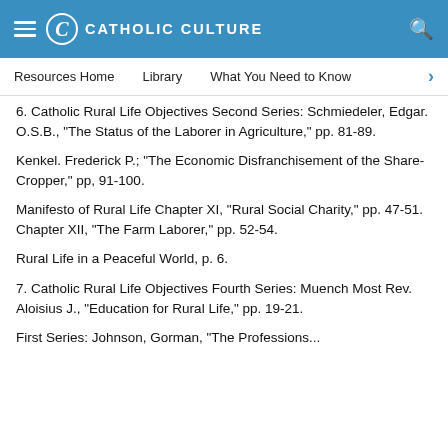CATHOLIC CULTURE
Resources Home   Library   What You Need to Know
6. Catholic Rural Life Objectives Second Series: Schmiedeler, Edgar. O.S.B., "The Status of the Laborer in Agriculture," pp. 81-89.
Kenkel. Frederick P.; "The Economic Disfranchisement of the Share-Cropper," pp, 91-100.
Manifesto of Rural Life Chapter XI, "Rural Social Charity," pp. 47-51. Chapter XII, "The Farm Laborer," pp. 52-54.
Rural Life in a Peaceful World, p. 6.
7. Catholic Rural Life Objectives Fourth Series: Muench Most Rev. Aloisius J., "Education for Rural Life," pp. 19-21.
First Series: Johnson, Gorman, "The Professions...